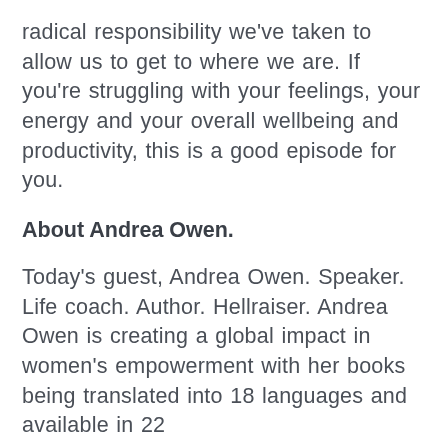radical responsibility we've taken to allow us to get to where we are. If you're struggling with your feelings, your energy and your overall wellbeing and productivity, this is a good episode for you.
About Andrea Owen.
Today's guest, Andrea Owen. Speaker. Life coach. Author. Hellraiser. Andrea Owen is creating a global impact in women's empowerment with her books being translated into 18 languages and available in 22